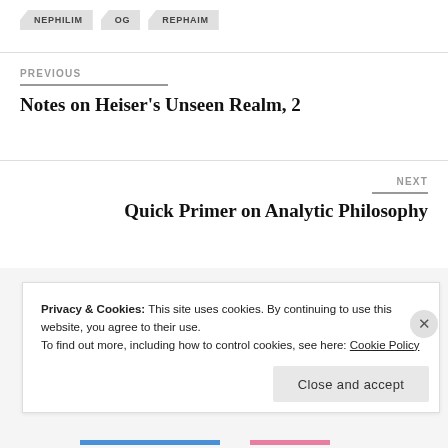NEPHILIM
OG
REPHAIM
PREVIOUS
Notes on Heiser's Unseen Realm, 2
NEXT
Quick Primer on Analytic Philosophy
Privacy & Cookies: This site uses cookies. By continuing to use this website, you agree to their use.
To find out more, including how to control cookies, see here: Cookie Policy
Close and accept